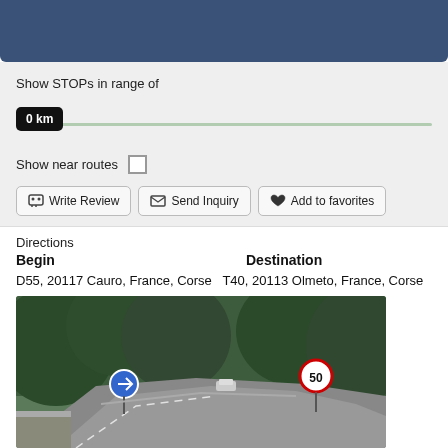[Figure (screenshot): Dark blue header bar at top of web application]
Show STOPs in range of
0 km
Show near routes
Write Review
Send Inquiry
Add to favorites
Directions
Begin	Destination
D55, 20117 Cauro, France, Corse T40, 20113 Olmeto, France, Corse
[Figure (photo): Road photo showing a winding road in Corse/Corsica with trees, road signs including a 50 km/h speed limit sign, and a car in the distance]